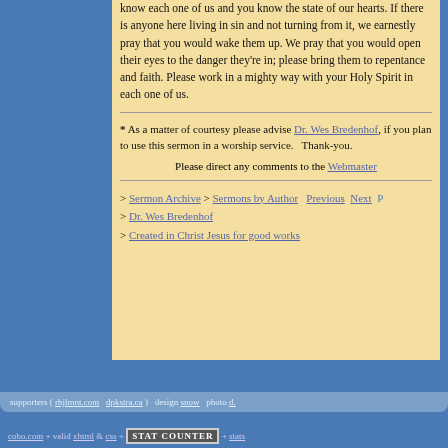know each one of us and you know the state of our hearts. If there is anyone here living in sin and not turning from it, we earnestly pray that you would wake them up. We pray that you would open their eyes to the danger they're in; please bring them to repentance and faith. Please work in a mighty way with your Holy Spirit in each one of us.
* As a matter of courtesy please advise Dr. Wes Bredenhof, if you plan to use this sermon in a worship service. Thank-you.
Please direct any comments to the Webmaster
> Sermon Archive > Sermons by Author  Previous  Next
> Dr. Wes Bredenhof
> Created in Christ Jesus for good works
supporters ( rbjlmnt.com  dpkstra.ca )  design snow  photo d.
cobo.com + valid xhtml & css + STAT COUNTER + stats